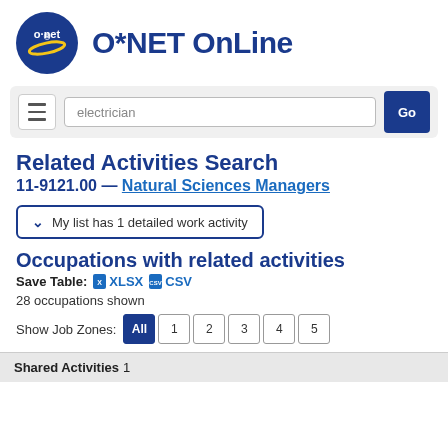[Figure (logo): O*NET OnLine logo with circular blue badge and site name]
[Figure (screenshot): Search bar with hamburger menu, text input showing 'electrician', and Go button]
Related Activities Search
11-9121.00 — Natural Sciences Managers
My list has 1 detailed work activity
Occupations with related activities
Save Table: XLSX CSV
28 occupations shown
Show Job Zones: All 1 2 3 4 5
Shared Activities 1